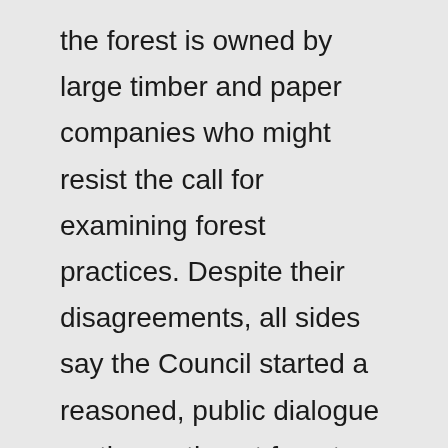the forest is owned by large timber and paper companies who might resist the call for examining forest practices. Despite their disagreements, all sides say the Council started a reasoned, public dialogue on the northeast forests which they hope will allow them to avoid the lawsuits and bitterness that have marked forest fights in the Pacific Northwest. For Living on Earth, this is Eric Westervelt in Concord, New Hampshire. NUNLEY: Disney's controversial plan for an American history theme park in northern Virginia may get final approval from Prince